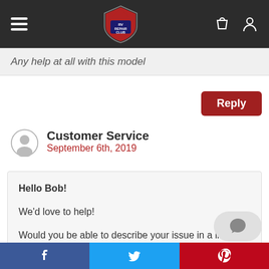RV Repair Club navigation bar
Any help at all with this model
Reply
Customer Service
September 6th, 2019
Hello Bob!

We'd love to help!

Would you be able to describe your issue in a little more detail and include your year, make, and model of your RV? Then I will forward your information on to our expert!

Sincerely
Facebook | Twitter | Pinterest